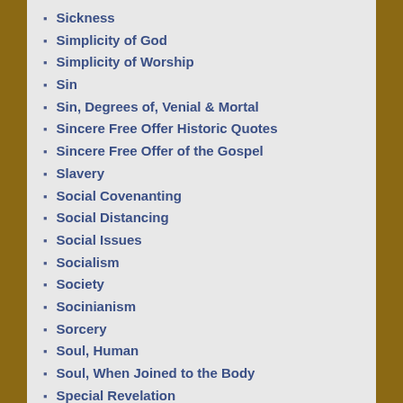Sickness
Simplicity of God
Simplicity of Worship
Sin
Sin, Degrees of, Venial & Mortal
Sincere Free Offer Historic Quotes
Sincere Free Offer of the Gospel
Slavery
Social Covenanting
Social Distancing
Social Issues
Socialism
Society
Socinianism
Sorcery
Soul, Human
Soul, When Joined to the Body
Special Revelation
Spiritual Conferencing
Spiritual Warfare
Street Preaching